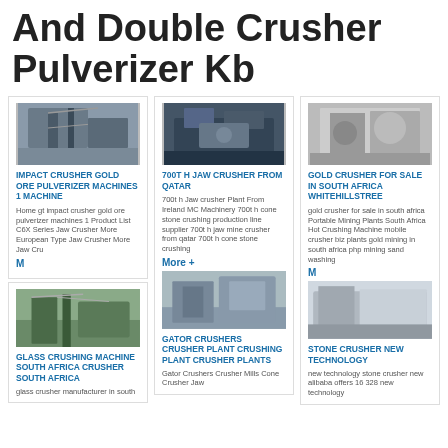And Double Crusher Pulverizer Kb
[Figure (photo): Industrial crusher/conveyor structure photo - top left card]
IMPACT CRUSHER GOLD ORE PULVERIZER MACHINES 1 MACHINE
Home gt impact crusher gold ore pulverizer machines 1 Product List C6X Series Jaw Crusher More European Type Jaw Crusher More Jaw Cru
[Figure (photo): Industrial crusher equipment photo - middle top card]
700T H JAW CRUSHER FROM QATAR
700t h Jaw crusher Plant From Ireland MC Machinery 700t h cone stone crushing production line supplier 700t h jaw mine crusher from qatar 700t h cone stone crushing
[Figure (photo): Gold/metal material photo - top right card]
GOLD CRUSHER FOR SALE IN SOUTH AFRICA WHITEHILLSTREE
gold crusher for sale in south africa Portable Mining Plants South Africa Hot Crushing Machine mobile crusher biz plants gold mining in south africa php mining sand washing
[Figure (photo): Industrial conveyor/crushing plant photo - bottom left card]
GLASS CRUSHING MACHINE SOUTH AFRICA CRUSHER SOUTH AFRICA
glass crusher manufacturer in south
[Figure (photo): Crusher plant equipment photo - bottom middle card]
GATOR CRUSHERS CRUSHER PLANT CRUSHING PLANT CRUSHER PLANTS
Gator Crushers Crusher Mills Cone Crusher Jaw
[Figure (photo): Industrial building/warehouse interior photo - bottom right card]
STONE CRUSHER NEW TECHNOLOGY
new technology stone crusher new alibaba offers 16 328 new technology